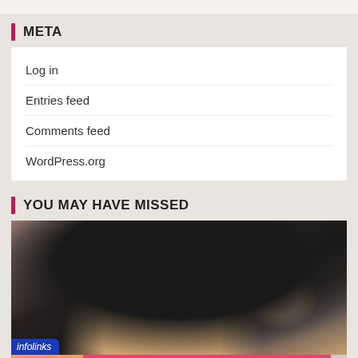META
Log in
Entries feed
Comments feed
WordPress.org
YOU MAY HAVE MISSED
[Figure (photo): Close-up photo of person wearing a dark knit headband/hat accessory, cropped showing top of head and forehead area]
[Figure (infographic): Victoria's Secret advertisement banner with model, VS logo, text SHOP THE COLLECTION, and SHOP NOW button on pink background. Infolinks badge at bottom left.]